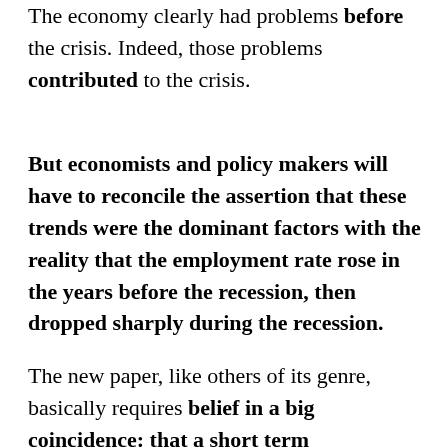The economy clearly had problems before the crisis. Indeed, those problems contributed to the crisis.
But economists and policy makers will have to reconcile the assertion that these trends were the dominant factors with the reality that the employment rate rose in the years before the recession, then dropped sharply during the recession.
The new paper, like others of its genre, basically requires belief in a big coincidence: that a short term